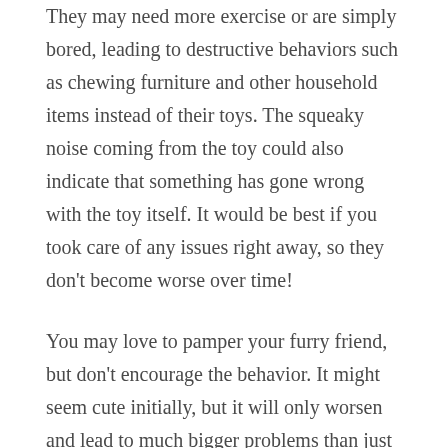They may need more exercise or are simply bored, leading to destructive behaviors such as chewing furniture and other household items instead of their toys. The squeaky noise coming from the toy could also indicate that something has gone wrong with the toy itself. It would be best if you took care of any issues right away, so they don't become worse over time!
You may love to pamper your furry friend, but don't encourage the behavior. It might seem cute initially, but it will only worsen and lead to much bigger problems than just whining at toys! For example, they could resort to attention-seeking whining at you for things like food when the toy isn't working.
They might even start howling and barking if their cute little whine doesn't work anymore! All in all, you should take care of any issues with your dog's toys right away, so this behavior doesn't get worse